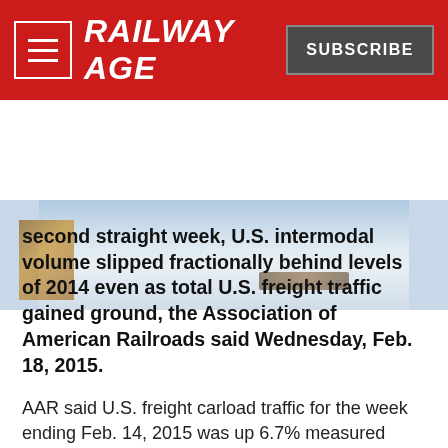RAILWAY AGE
[Figure (photo): Partial photo of a snowy winter scene with railway-related imagery; snow-covered ground visible with some brown wooden posts on left and dark debris/object on right side of frame.]
second straight week, U.S. intermodal volume slipped fractionally behind levels of 2014 even as total U.S. freight traffic gained ground, the Association of American Railroads said Wednesday, Feb. 18, 2015.
AAR said U.S. freight carload traffic for the week ending Feb. 14, 2015 was up 6.7% measured against the comparable week in 2014. But U.S. intermodal volume fell, though only a modest 0.1%, for the week. Total U.S. weekly rail traffic for the week rose 3.5% compared with